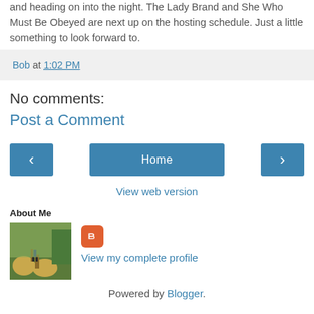and heading on into the night. The Lady Brand and She Who Must Be Obeyed are next up on the hosting schedule. Just a little something to look forward to.
Bob at 1:02 PM
No comments:
Post a Comment
[Figure (other): Navigation buttons: left arrow, Home, right arrow]
View web version
About Me
[Figure (photo): Profile photo showing a person standing next to hay bales in a field]
View my complete profile
Powered by Blogger.